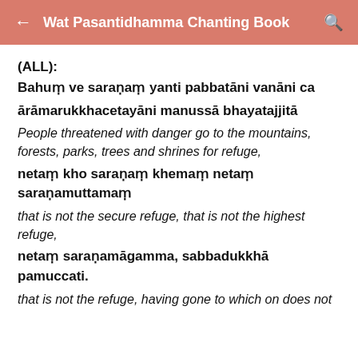Wat Pasantidhamma Chanting Book
(ALL):
Bahuṃ ve saraṇaṃ yanti pabbatāni vanāni ca
ārāmarukkhacetayāni manussā bhayatajjitā
People threatened with danger go to the mountains, forests, parks, trees and shrines for refuge,
netaṃ kho saraṇaṃ khemaṃ netaṃ saraṇamuttamaṃ
that is not the secure refuge, that is not the highest refuge,
netaṃ saraṇamāgamma, sabbadukkhā pamuccati.
that is not the refuge, having gone to which on does not